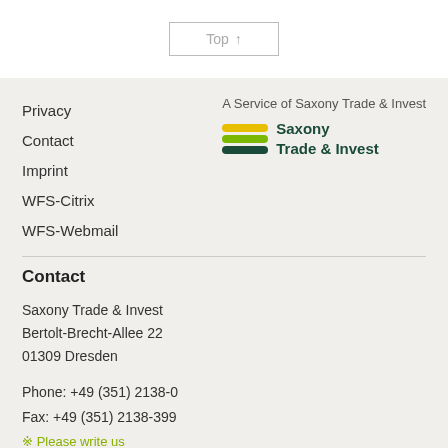Top ↑
Privacy
Contact
Imprint
WFS-Citrix
WFS-Webmail
A Service of Saxony Trade & Invest
[Figure (logo): Saxony Trade & Invest logo with three colored horizontal stripes (yellow, green, dark green) and text 'Saxony Trade & Invest']
Contact
Saxony Trade & Invest
Bertolt-Brecht-Allee 22
01309 Dresden
Phone: +49 (351) 2138-0
Fax: +49 (351) 2138-399
※ Please write us